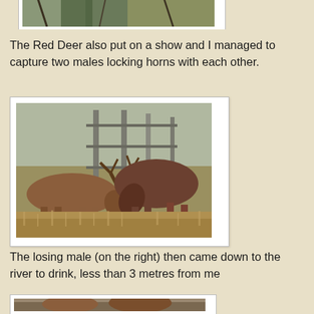[Figure (photo): Top portion of a photo partially visible at the top of the page, showing a person in green outdoor clothing among trees]
The Red Deer also put on a show and I managed to capture two males locking horns with each other.
[Figure (photo): Two male red deer locking antlers/horns in a grassy area with trees and a fence in the background]
The losing male (on the right) then came down to the river to drink, less than 3 metres from me
[Figure (photo): Partial view of a red deer at the bottom of the page]